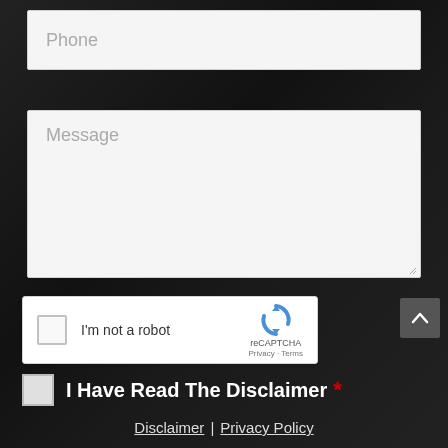Phone
Message
[Figure (other): reCAPTCHA widget with checkbox labeled I'm not a robot, reCAPTCHA logo, Privacy and Terms links]
I Have Read The Disclaimer *
Disclaimer | Privacy Policy